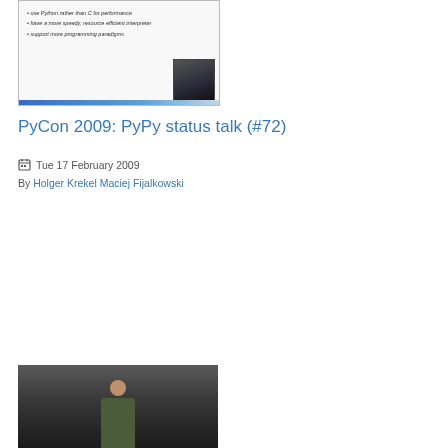[Figure (screenshot): Screenshot of a presentation slide showing bullet points about Python/PyPy with a small thumbnail of a speaker in the bottom-right corner. Blue bar at bottom.]
PyCon 2009: PyPy status talk (#72)
Tue 17 February 2009
By Holger Krekel Maciej Fijalkowski
[Figure (photo): Photo of a presenter (man in green shirt) speaking at a conference, standing in front of a dark background.]